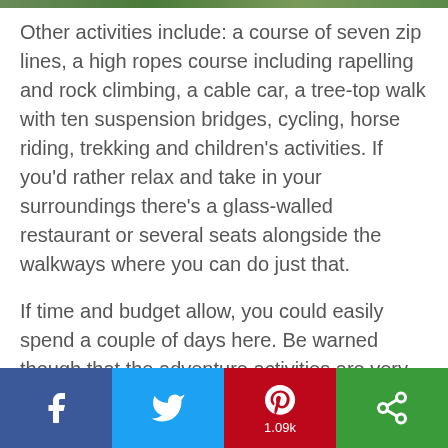[Figure (photo): Partial top strip of an outdoor nature/forest photo]
Other activities include: a course of seven zip lines, a high ropes course including rapelling and rock climbing, a cable car, a tree-top walk with ten suspension bridges, cycling, horse riding, trekking and children’s activities. If you’d rather relax and take in your surroundings there’s a glass-walled restaurant or several seats alongside the walkways where you can do just that.
If time and budget allow, you could easily spend a couple of days here. Be warned though that the adventure activities are very much on the pricey side. Even though we didn’t partake in any activities we’re so glad we took the walk up there for the stunning scenery.
Copper Canyon Train from Posada Barrancas to El Fuerte
[Figure (infographic): Social sharing bar with Facebook, Twitter, Pinterest (1.09k), and a More/share button]